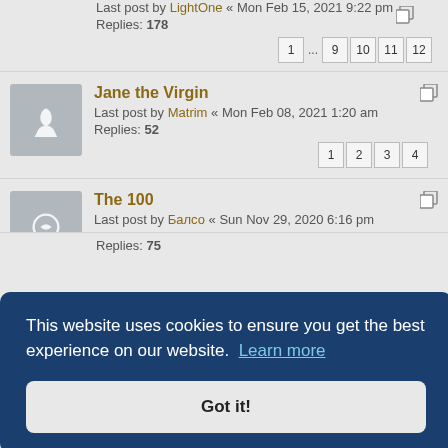Last post by LightOne « Mon Feb 15, 2021 9:22 pm
Replies: 178
Pages: 1 ... 9 10 11 12
Jane the Virgin
Last post by Matrim « Mon Feb 08, 2021 1:20 am
Replies: 52
Pages: 1 2 3 4
The 100
Last post by Балсо « Sun Nov 29, 2020 6:16 pm
Replies: 33
Pages: 1 2 3
This website uses cookies to ensure you get the best experience on our website. Learn more
Got it!
Replies: 75